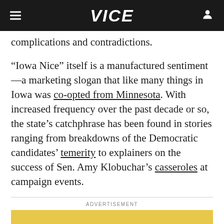VICE
complications and contradictions.
“Iowa Nice” itself is a manufactured sentiment—a marketing slogan that like many things in Iowa was co-opted from Minnesota. With increased frequency over the past decade or so, the state’s catchphrase has been found in stories ranging from breakdowns of the Democratic candidates’ temerity to explainers on the success of Sen. Amy Klobuchar’s casseroles at campaign events.
ADVERTISEMENT